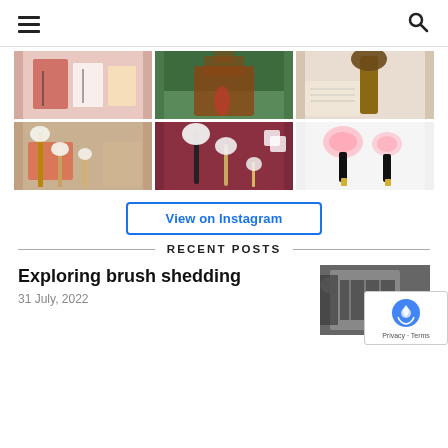Navigation header with hamburger menu and search icon
[Figure (photo): Instagram photo grid with 6 images of Japanese makeup brushes, landscapes, and cultural items]
View on Instagram
RECENT POSTS
Exploring brush shedding
31 July, 2022